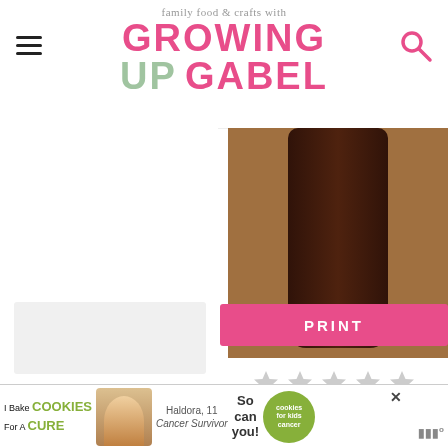family food & crafts with GROWING UP GABEL
[Figure (photo): Photo of a dark glass jar with brown/chocolate colored contents on a wooden surface]
[Figure (other): Five empty star rating icons (no ratings given)]
No Ratings
[Figure (other): Pink PRINT button]
[Figure (other): Advertisement banner: I Bake COOKIES For A CURE - Haldora, 11 Cancer Survivor - So can you! - cookies for kids cancer logo]